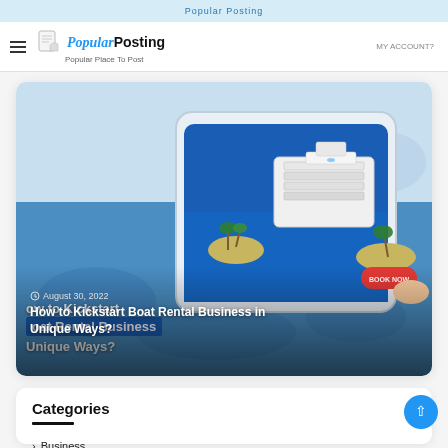Popular Posting — Popular Place To Post
[Figure (illustration): Isometric illustration of a cruise ship on a smartphone screen with tropical islands, palm trees, and a 'Book Now' button overlaid on a world map background. Article card promoting 'How to Kickstart Boat Rental Business in Unique Ways?' dated August 30, 2022.]
How to Kickstart Boat Rental Business in Unique Ways?
August 30, 2022
Categories